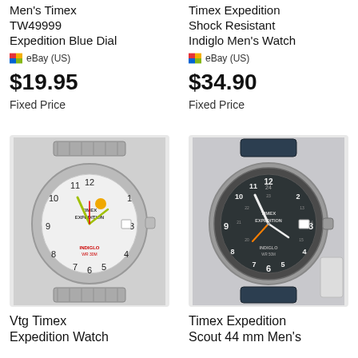Men's Timex TW49999 Expedition Blue Dial
eBay (US)
$19.95
Fixed Price
Timex Expedition Shock Resistant Indiglo Men's Watch
eBay (US)
$34.90
Fixed Price
[Figure (photo): Vtg Timex Expedition Watch with white dial and metal expansion band]
[Figure (photo): Timex Expedition Scout 44mm Men's watch with navy blue leather strap and dark dial]
Vtg Timex Expedition Watch
Timex Expedition Scout 44 mm Men's